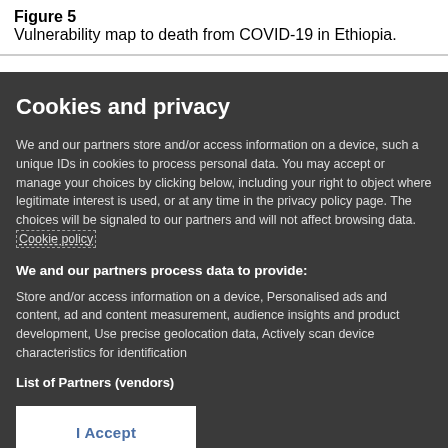Figure 5
Vulnerability map to death from COVID-19 in Ethiopia.
Cookies and privacy
We and our partners store and/or access information on a device, such a unique IDs in cookies to process personal data. You may accept or manage your choices by clicking below, including your right to object where legitimate interest is used, or at any time in the privacy policy page. These choices will be signaled to our partners and will not affect browsing data. Cookie policy
We and our partners process data to provide:
Store and/or access information on a device, Personalised ads and content, ad and content measurement, audience insights and product development, Use precise geolocation data, Actively scan device characteristics for identification
List of Partners (vendors)
I Accept